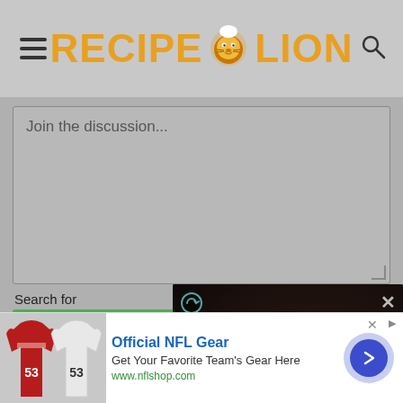[Figure (screenshot): RecipeLion website header with hamburger menu icon on left, RecipeLion logo in center with lion mascot, and search icon on right]
Join the discussion...
Search for
BBQ Pork Ribs Re...
Dry Rub For Pork Ribs
[Figure (screenshot): Video overlay showing 'Addicted Irish Style Apples Cake' recipe video with play button, mute button, recycle icon and close button]
[Figure (other): NFL advertisement banner showing jerseys, Official NFL Gear text, Get Your Favorite Team's Gear Here, www.nflshop.com, with arrow button]